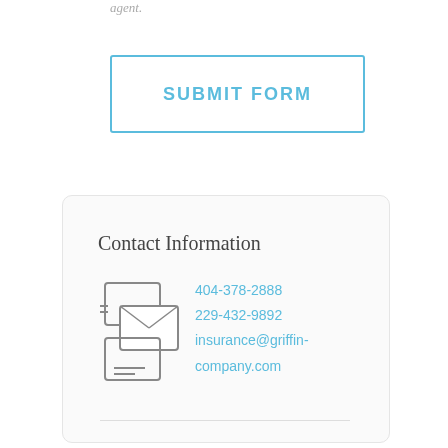agent.
SUBMIT FORM
Contact Information
[Figure (illustration): Icon of two overlapping envelopes/mail icons with lines suggesting correspondence]
404-378-2888
229-432-9892
insurance@griffin-company.com